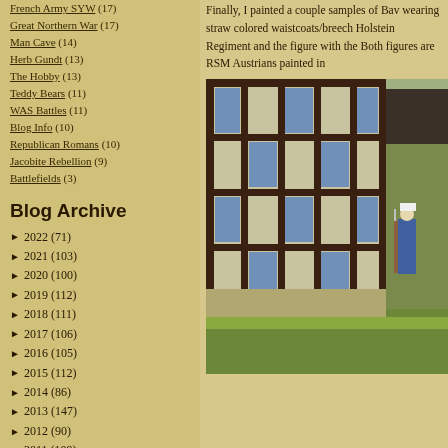French Army SYW (17)
Great Northern War (17)
Man Cave (14)
Herb Gundt (13)
The Hobby (13)
Teddy Bears (11)
WAS Battles (11)
Blog Info (10)
Republican Romans (10)
Jacobite Rebellion (9)
Battlefields (3)
Blog Archive
► 2022 (71)
► 2021 (103)
► 2020 (100)
► 2019 (112)
► 2018 (111)
► 2017 (106)
► 2016 (105)
► 2015 (112)
► 2014 (86)
► 2013 (147)
► 2012 (90)
► 2011 (109)
▼ 2010 (100)
Finally, I painted a couple samples of Bav wearing straw colored waistcoats/breech Holstein Regiment and the figure with the Both figures are RSM Austrians painted in
[Figure (photo): Half-timbered building with blue and cream panels, green grass ground, with a painted miniature soldier figure in blue uniform standing to the right of the building.]